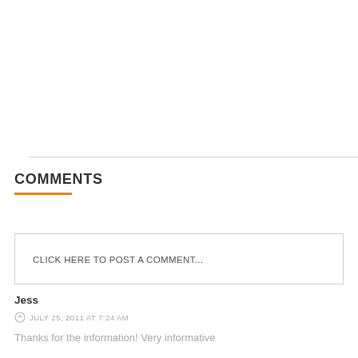COMMENTS
CLICK HERE TO POST A COMMENT...
Jess
JULY 25, 2011 AT 7:24 AM
Thanks for the information! Very informative